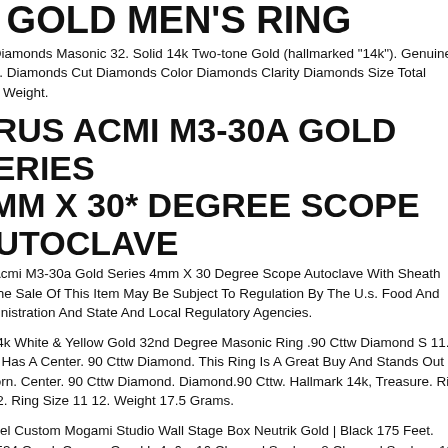A GOLD MEN'S RING
ine Diamonds Masonic 32. Solid 14k Two-tone Gold (hallmarked "14k"). Genuine onds. Diamonds Cut Diamonds Color Diamonds Clarity Diamonds Size Total onds Weight.
YRUS ACMI M3-30A GOLD SERIES 4MM X 30* DEGREE SCOPE AUTOCLAVE
rus Acmi M3-30a Gold Series 4mm X 30 Degree Scope Autoclave With Sheath m. The Sale Of This Item May Be Subject To Regulation By The U.s. Food And Administration And State And Local Regulatory Agencies.
ge 14k White & Yellow Gold 32nd Degree Masonic Ring .90 Cttw Diamond S 11.5 Ring Has A Center. 90 Cttw Diamond. This Ring Is A Great Buy And Stands Out h Worn. Center. 90 Cttw Diamond. Diamond.90 Cttw. Hallmark 14k, Treasure. Ring 11 12. Ring Size 11 12. Weight 17.5 Grams.
hannel Custom Mogami Studio Wall Stage Box Neutrik Gold | Black 175 Feet. mi 2534 Quad. Canare Quad L-4e6s. 16 Channel Snakes. 2 Channel Snakes. 12 nel Snakes. 4 Channel Snakes. 8 Channel Snakes. 24 Channel Snakes.
ATRICK MAHOMES 2020 SELECT OLD PRIZM #130 PREMIER LEVEL